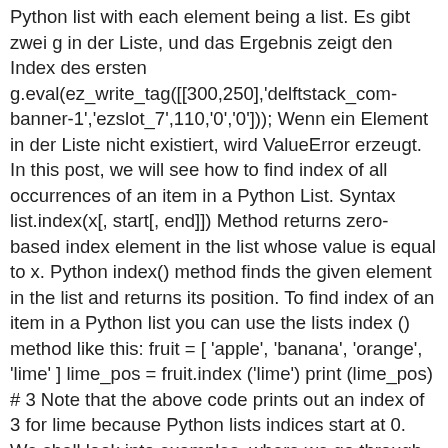Python list with each element being a list. Es gibt zwei g in der Liste, und das Ergebnis zeigt den Index des ersten g.eval(ez_write_tag([[300,250],'delftstack_com-banner-1','ezslot_7',110,'0','0'])); Wenn ein Element in der Liste nicht existiert, wird ValueError erzeugt. In this post, we will see how to find index of all occurrences of an item in a Python List. Syntax list.index(x[, start[, end]]) Method returns zero-based index element in the list whose value is equal to x. Python index() method finds the given element in the list and returns its position. To find index of an item in a Python list you can use the lists index () method like this: fruit = [ 'apple', 'banana', 'orange', 'lime' ] lime_pos = fruit.index ('lime') print (lime_pos) # 3 Note that the above code prints out an index of 3 for lime because Python lists indices start at 0. We shall look into examples, where we go through each of these scenarios in detail. Following is the syntax of index() function with start and end positions. lists are inbuilt